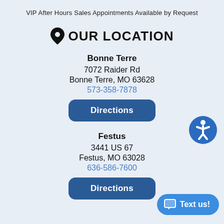VIP After Hours Sales Appointments Available by Request
OUR LOCATION
Bonne Terre
7072 Raider Rd
Bonne Terre, MO 63628
573-358-7878
Directions
Festus
3441 US 67
Festus, MO 63028
636-586-7600
Directions